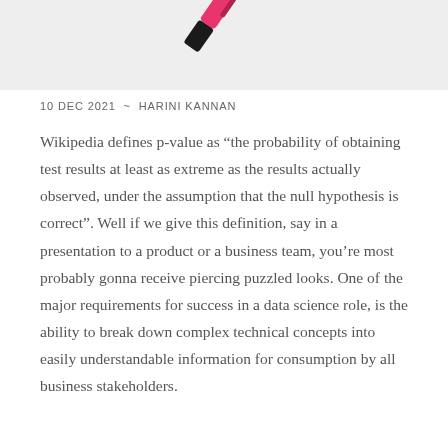[Figure (photo): Partial image of a pink and black pen or marker shown diagonally at the top of the page, against a light grey background.]
10 DEC 2021  ~  HARINI KANNAN
Wikipedia defines p-value as "the probability of obtaining test results at least as extreme as the results actually observed, under the assumption that the null hypothesis is correct". Well if we give this definition, say in a presentation to a product or a business team, you're most probably gonna receive piercing puzzled looks. One of the major requirements for success in a data science role, is the ability to break down complex technical concepts into easily understandable information for consumption by all business stakeholders.